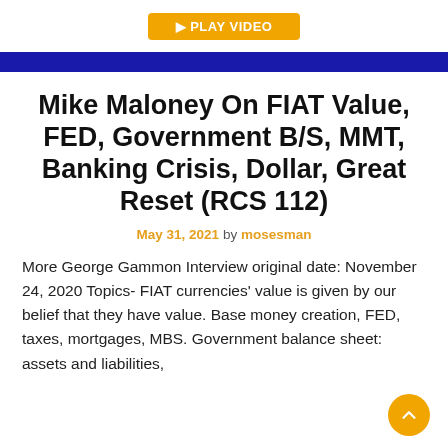Mike Maloney On FIAT Value, FED, Government B/S, MMT, Banking Crisis, Dollar, Great Reset (RCS 112)
May 31, 2021 by mosesman
More George Gammon Interview original date: November 24, 2020 Topics- FIAT currencies' value is given by our belief that they have value. Base money creation, FED, taxes, mortgages, MBS. Government balance sheet: assets and liabilities,